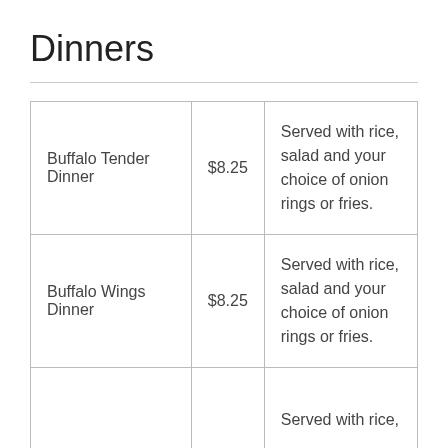Dinners
| Buffalo Tender Dinner | $8.25 | Served with rice, salad and your choice of onion rings or fries. |
| Buffalo Wings Dinner | $8.25 | Served with rice, salad and your choice of onion rings or fries. |
|  |  | Served with rice, |